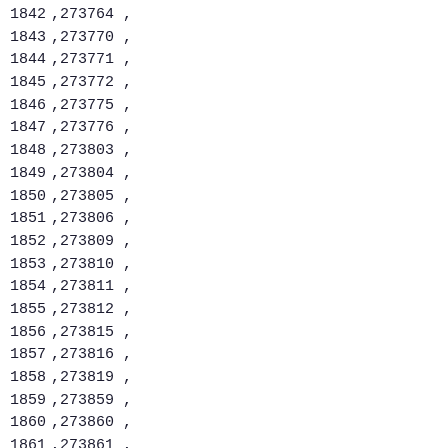| col1 | col2 |
| --- | --- |
| 1842 | 273764 , |
| 1843 | 273770 , |
| 1844 | 273771 , |
| 1845 | 273772 , |
| 1846 | 273775 , |
| 1847 | 273776 , |
| 1848 | 273803 , |
| 1849 | 273804 , |
| 1850 | 273805 , |
| 1851 | 273806 , |
| 1852 | 273809 , |
| 1853 | 273810 , |
| 1854 | 273811 , |
| 1855 | 273812 , |
| 1856 | 273815 , |
| 1857 | 273816 , |
| 1858 | 273819 , |
| 1859 | 273859 , |
| 1860 | 273860 , |
| 1861 | 273861 , |
| 1862 | 273880 , |
| 1863 | 273884 , |
| 1864 | 273896 , |
| 1865 | 273898 , |
| 1866 | 273912 , |
| 1867 | 273???  , |